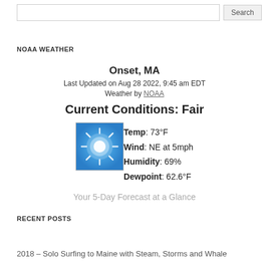Search
NOAA WEATHER
Onset, MA
Last Updated on Aug 28 2022, 9:45 am EDT
Weather by NOAA
Current Conditions: Fair
[Figure (illustration): Weather icon showing a bright sun against a blue sky background]
Temp: 73°F
Wind: NE at 5mph
Humidity: 69%
Dewpoint: 62.6°F
Your 5-Day Forecast at a Glance
RECENT POSTS
2018 – Solo Surfing to Maine with Steam, Storms and Whale